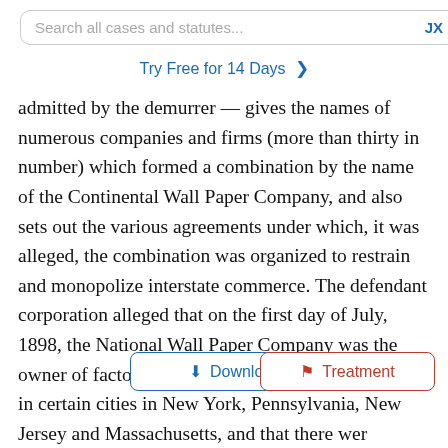Search all cases and statutes... JX
Try Free for 14 Days >
admitted by the demurrer — gives the names of numerous companies and firms (more than thirty in number) which formed a combination by the name of the Continental Wall Paper Company, and also sets out the various agreements under which, it was alleged, the combination was organized to restrain and monopolize interstate commerce. The defendant corporation alleged that on the first day of July, 1898, the National Wall Paper Company was the owner of factories for the manufacture of wall paper in certain cities in New York, Pennsylvania, New Jersey and Massachusetts, and that there wer [Download] [Treatment] corporations in other states; that interstate companies and firms were engaged in the manufacture of wall